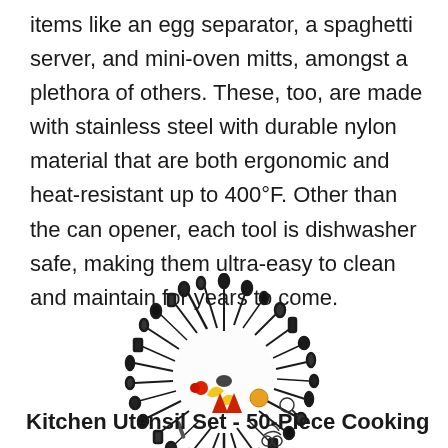items like an egg separator, a spaghetti server, and mini-oven mitts, amongst a plethora of others. These, too, are made with stainless steel with durable nylon material that are both ergonomic and heat-resistant up to 400°F. Other than the can opener, each tool is dishwasher safe, making them ultra-easy to clean and maintain for years to come.
[Figure (illustration): A circular arrangement of kitchen utensils and cooking tools forming a face-like pattern, with various spoons, spatulas, ladles, scissors, and other utensils fanned out in a circle. In the center are colorful items including red and yellow pieces arranged like facial features.]
Kitchen Utensil Set - 50-Piece Cooking